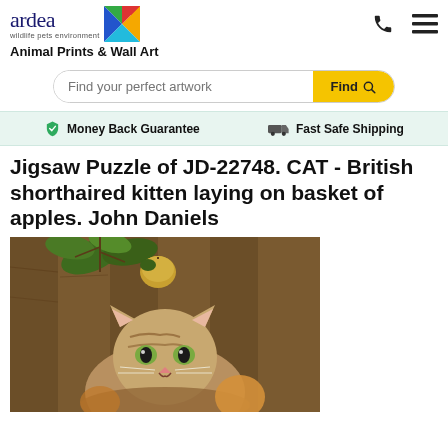[Figure (logo): Ardea wildlife pets environment logo with rainbow-colored bird graphic]
Animal Prints & Wall Art
[Figure (screenshot): Search bar with placeholder 'Find your perfect artwork' and yellow 'Find' button with magnifying glass icon]
Money Back Guarantee   Fast Safe Shipping
Jigsaw Puzzle of JD-22748. CAT - British shorthaired kitten laying on basket of apples. John Daniels
[Figure (photo): British shorthaired kitten sitting in or near a basket of apples with green leaves and branches above, wooden fence background]